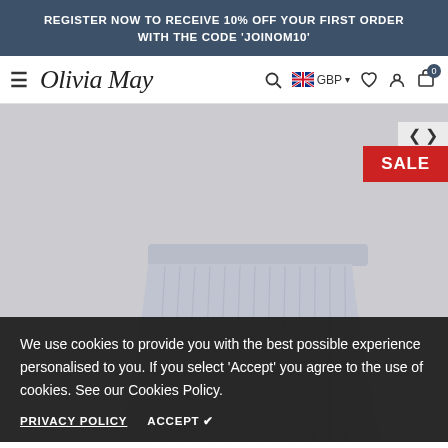REGISTER NOW TO RECEIVE 10% OFF YOUR FIRST ORDER WITH THE CODE 'JOINOM10'
[Figure (screenshot): Olivia May e-commerce website navigation bar with hamburger menu, script logo, search icon, UK flag GBP currency selector, heart icon, user icon, and cart icon showing 0 items]
[Figure (photo): Product photo of a ribbed light blue/grey knit skirt on a light grey background, with a red SALE badge in the top right corner and navigation arrows]
We use cookies to provide you with the best possible experience personalised to you. If you select 'Accept' you agree to the use of cookies. See our Cookies Policy.
PRIVACY POLICY   ACCEPT ✔